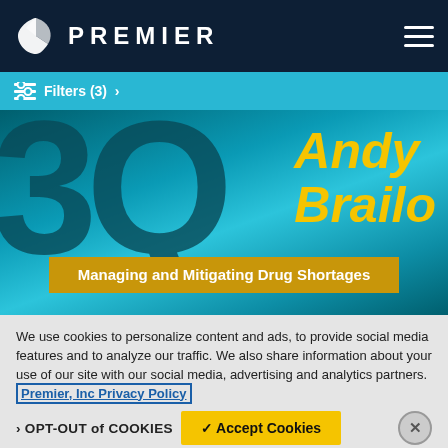PREMIER
Filters (3) >
[Figure (illustration): Hero banner showing '3Q Andy Brailo' with subtitle 'Managing and Mitigating Drug Shortages' on a teal gradient background]
We use cookies to personalize content and ads, to provide social media features and to analyze our traffic. We also share information about your use of our site with our social media, advertising and analytics partners. Premier, Inc Privacy Policy
› OPT-OUT of COOKIES
✓ Accept Cookies